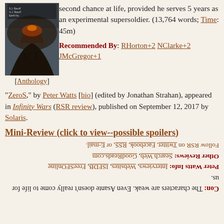[Figure (illustration): Book cover image for a sci-fi anthology, dark tones with soldiers/volcanic landscape]
second chance at life, provided he serves 5 years as an experimental supersoldier. (13,764 words; Time: 45m)
Recommended By: RHorton+2 NClarke+2 JMcGregor+1
[Anthology]
"ZeroS," by Peter Watts [bio] (edited by Jonathan Strahan), appeared in Infinity Wars (RSR review), published on September 12, 2017 by Solaris.
Mini-Review (click to view--possible spoilers)
Follow RSR on Twitter, Facebook, RSS, or E-mail.
Peter Watts Info: Interviews, Websites, ISFDB, FreeSFOnline
Other Reviews: Search Web, GoodReads.com
Con: The characters are weak. Even Asante doesn't really come to life for us.